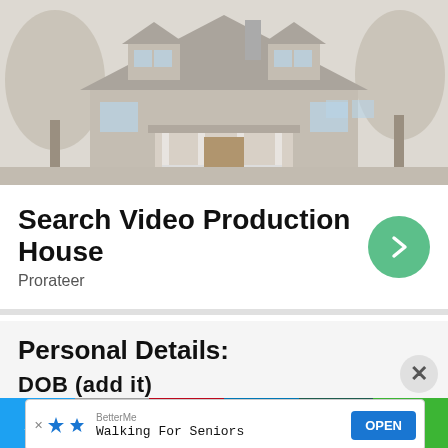[Figure (photo): Exterior photo of a two-story brick house with dormer windows, covered front porch with white railings, and surrounding bare trees. Image is slightly faded/washed out.]
Search Video Production House
Prorateer
Personal Details:
DOB (add it)
[Figure (infographic): Bottom ad banner showing BetterMe Walking For Seniors advertisement with an OPEN button, X close button, and small ad attribution icons.]
Twitter | Gmail | Pinterest | LinkedIn | WhatsApp | Line social share buttons